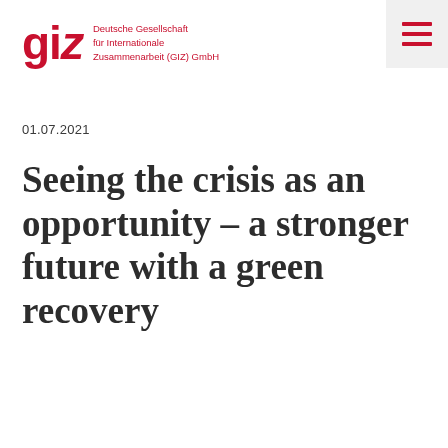[Figure (logo): GIZ logo with red wordmark 'giz' and tagline 'Deutsche Gesellschaft für Internationale Zusammenarbeit (GIZ) GmbH' in red, plus a hamburger menu icon in grey box]
01.07.2021
Seeing the crisis as an opportunity – a stronger future with a green recovery